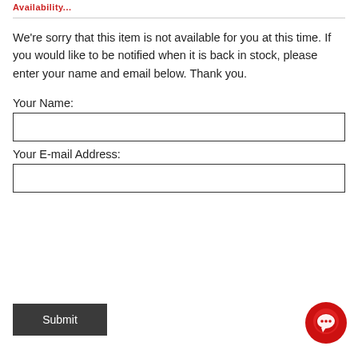Availability...
We're sorry that this item is not available for you at this time. If you would like to be notified when it is back in stock, please enter your name and email below. Thank you.
Your Name:
Your E-mail Address:
Submit